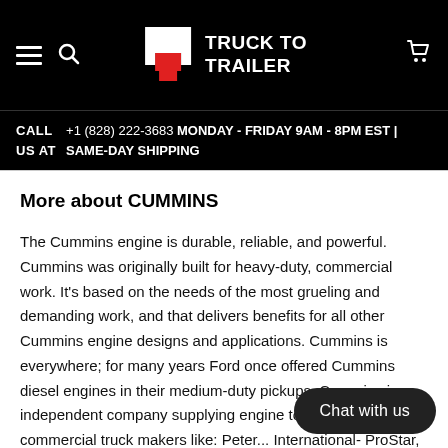TRUCK TO TRAILER
CALL US AT  +1 (828) 222-3683 MONDAY - FRIDAY 9AM - 8PM EST | SAME-DAY SHIPPING
More about CUMMINS
The Cummins engine is durable, reliable, and powerful. Cummins was originally built for heavy-duty, commercial work. It's based on the needs of the most grueling and demanding work, and that delivers benefits for all other Cummins engine designs and applications. Cummins is everywhere; for many years Ford once offered Cummins diesel engines in their medium-duty pickups. Cummins is a independent company supplying engine to both R... commercial truck makers like: Peter... International- ProStar, 9900i, LoneStar, PayStar and HX models. Freightliner Cascadia, Coronado, and